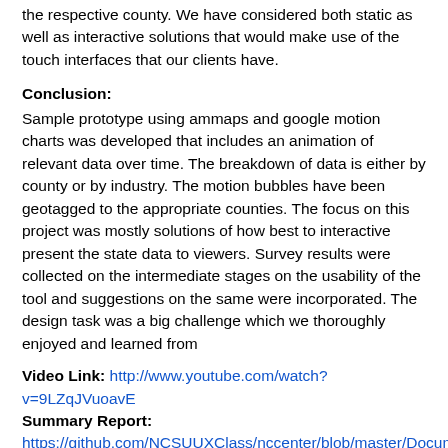the respective county. We have considered both static as well as interactive solutions that would make use of the touch interfaces that our clients have.
Conclusion:
Sample prototype using ammaps and google motion charts was developed that includes an animation of relevant data over time. The breakdown of data is either by county or by industry. The motion bubbles have been geotagged to the appropriate counties. The focus on this project was mostly solutions of how best to interactive present the state data to viewers. Survey results were collected on the intermediate stages on the usability of the tool and suggestions on the same were incorporated. The design task was a big challenge which we thoroughly enjoyed and learned from
Video Link: http://www.youtube.com/watch?v=9LZqJVuoavE
Summary Report: https://github.com/NCSUUXClass/nccenter/blob/master/Documents/Summary%20Report.doc
Detailed Report: https://github.com/NCSUUXClass/nccenter/blob/master/Documents/NC%